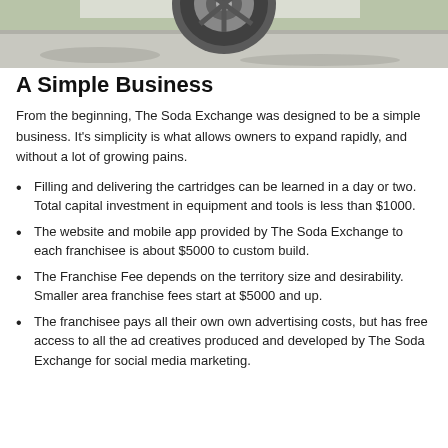[Figure (photo): Partial view of a vehicle wheel/tire on gravel or pavement, cropped at the top of the page.]
A Simple Business
From the beginning, The Soda Exchange was designed to be a simple business. It's simplicity is what allows owners to expand rapidly, and without a lot of growing pains.
Filling and delivering the cartridges can be learned in a day or two. Total capital investment in equipment and tools is less than $1000.
The website and mobile app provided by The Soda Exchange to each franchisee is about $5000 to custom build.
The Franchise Fee depends on the territory size and desirability. Smaller area franchise fees start at $5000 and up.
The franchisee pays all their own own advertising costs, but has free access to all the ad creatives produced and developed by The Soda Exchange for social media marketing.